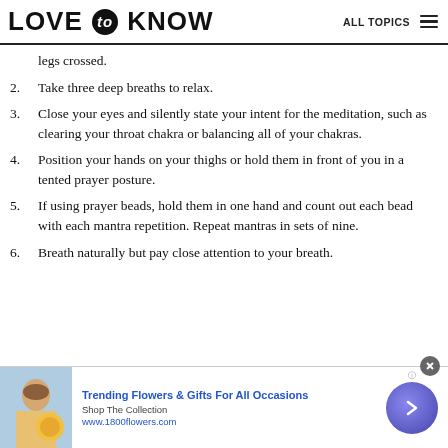LOVE to KNOW   ALL TOPICS
legs crossed.
2. Take three deep breaths to relax.
3. Close your eyes and silently state your intent for the meditation, such as clearing your throat chakra or balancing all of your chakras.
4. Position your hands on your thighs or hold them in front of you in a tented prayer posture.
5. If using prayer beads, hold them in one hand and count out each bead with each mantra repetition. Repeat mantras in sets of nine.
6. Breath naturally but pay close attention to your breath.
[Figure (other): Advertisement banner: Trending Flowers & Gifts For All Occasions, Shop The Collection, www.1800flowers.com, with photo of woman holding flowers and arrow button]